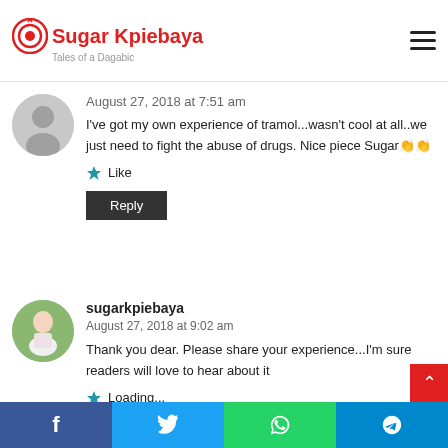Sugar Kpiebaya — Tales of a Dagabic
August 27, 2018 at 7:51 am
I've got my own experience of tramol...wasn't cool at all..we just need to fight the abuse of drugs. Nice piece Sugar👏👏
Like
Reply
sugarkpiebaya
August 27, 2018 at 9:02 am
Thank you dear. Please share your experience...I'm sure readers will love to hear about it
Loading...
f  t  WhatsApp  Telegram